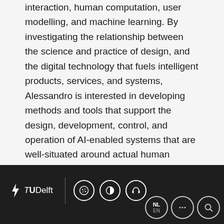interaction, human computation, user modelling, and machine learning. By investigating the relationship between the science and practice of design, and the digital technology that fuels intelligent products, services, and systems, Alessandro is interested in developing methods and tools that support the design, development, control, and operation of AI-enabled systems that are well-situated around actual human characteristics, values, intentions, and behaviours, rather than as we want or assume them to be.

Alessandro has published more than 150 papers in peer-reviewed international journals (e.g. VLDBJ, ACM TWEB, IEEE IC, IEEE Access) and conferences (e.g.
TUDelft